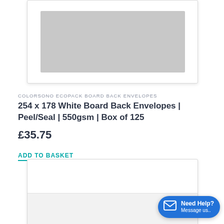[Figure (photo): Top portion of a white board back envelope product image with grey inner panel, white border and subtle shadow]
COLORSONO ECOPACK BOARD BACK ENVELOPES
254 x 178 White Board Back Envelopes | Peel/Seal | 550gsm | Box of 125
£35.75
ADD TO BASKET
[Figure (photo): Bottom portion of a white envelope product image showing the envelope with flap area, white border and subtle shadow]
Need Help? Message us..